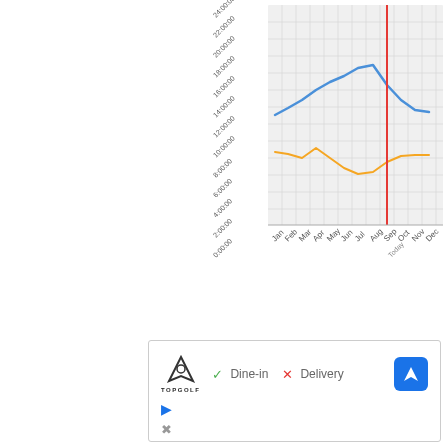[Figure (line-chart): Popular times]
[Figure (infographic): Topgolf restaurant info panel showing logo, Dine-in (check), Delivery (X), navigation arrow button, play icon, and close icon]